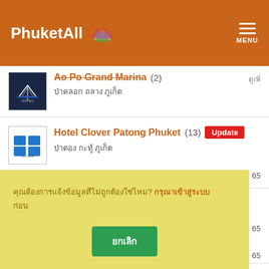PhuketAll MENU
Ao Po Grand Marina (2) ป่าคลอก ถลาง ภูเก็ต
Hotel Clover Patong Phuket (13) Update ป่าตอง กะทู้ ภูเก็ต ภูเก็ต | 26 ส.ค. 65
Manit Center Max (2) ภูเก็ต | 24 ส.ค. 65
คุณต้องการแจ้งข้อมูลที่ไม่ถูกต้องใช่ไหม? กรุณาเข้าสู่ระบบ ก่อน
ส.ค. 65
ส.ค. 65